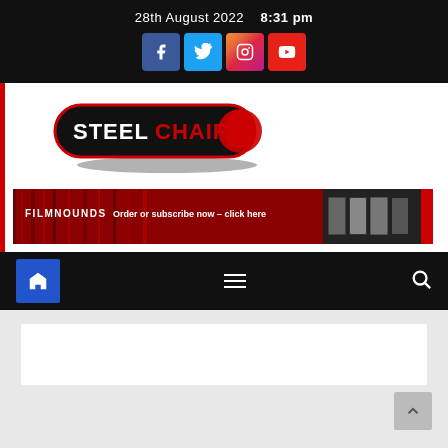28th August 2022   8:31 pm
[Figure (logo): Social media icons: Facebook, Twitter, Instagram, YouTube]
[Figure (logo): Steel Chair logo - black pill-shaped button with red accent and white/red text]
[Figure (infographic): FILMNOUNDS banner - Order or subscribe now - click here, with DVD covers on right]
[Figure (screenshot): Navigation bar with home button (blue), hamburger menu, and search icon on black background]
[Figure (screenshot): White content card area on grey background with scroll-to-top button]